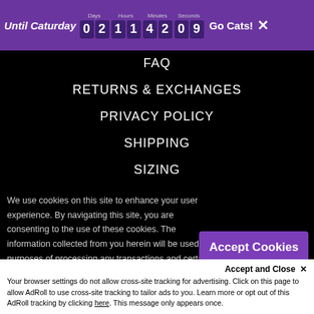Until Caturday 02 11 42 09 Go Cats! X
FAQ
RETURNS & EXCHANGES
PRIVACY POLICY
SHIPPING
SIZING
We use cookies on this site to enhance your user experience. By navigating this site, you are consenting to the use of these cookies. The information collected from you herein will be used for purposes of processing any transactions and certain administrative functions. For more specific information about how
honestbros uses and discloses your
Accept Cookies
Accept and Close ✕
Your browser settings do not allow cross-site tracking for advertising. Click on this page to allow AdRoll to use cross-site tracking to tailor ads to you. Learn more or opt out of this AdRoll tracking by clicking here. This message only appears once.